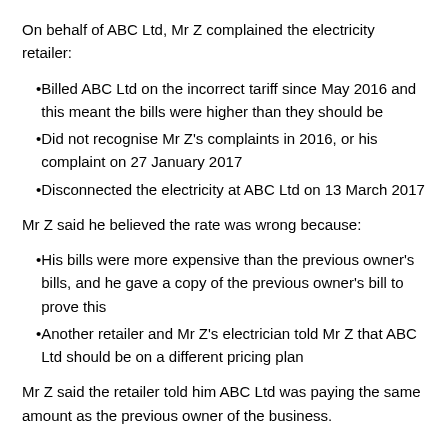On behalf of ABC Ltd, Mr Z complained the electricity retailer:
Billed ABC Ltd on the incorrect tariff since May 2016 and this meant the bills were higher than they should be
Did not recognise Mr Z's complaints in 2016, or his complaint on 27 January 2017
Disconnected the electricity at ABC Ltd on 13 March 2017
Mr Z said he believed the rate was wrong because:
His bills were more expensive than the previous owner's bills, and he gave a copy of the previous owner's bill to prove this
Another retailer and Mr Z's electrician told Mr Z that ABC Ltd should be on a different pricing plan
Mr Z said the retailer told him ABC Ltd was paying the same amount as the previous owner of the business.